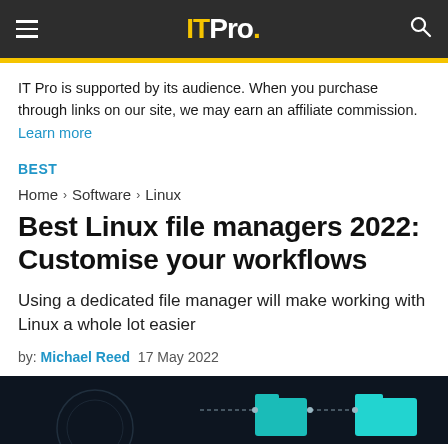IT Pro.
IT Pro is supported by its audience. When you purchase through links on our site, we may earn an affiliate commission. Learn more
BEST
Home > Software > Linux
Best Linux file managers 2022: Customise your workflows
Using a dedicated file manager will make working with Linux a whole lot easier
by: Michael Reed  17 May 2022
[Figure (photo): Dark themed hero image showing file manager concept with cyan/teal folder icons connected by lines on a dark background]